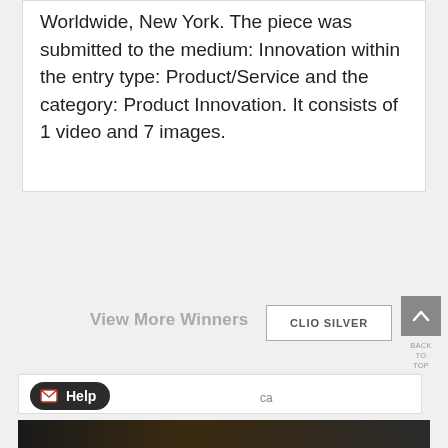Worldwide, New York. The piece was submitted to the medium: Innovation within the entry type: Product/Service and the category: Product Innovation. It consists of 1 video and 7 images.
View More Winners
CLIO SILVER
[Figure (other): Up arrow chevron icon on gray background with BACK TO TOP label below]
BACK TO TOP
2018
Help
ca
[Figure (photo): Dark bottom image strip showing a partial photo]